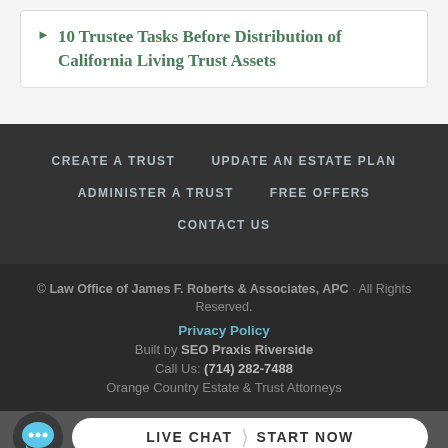10 Trustee Tasks Before Distribution of California Living Trust Assets
CREATE A TRUST  UPDATE AN ESTATE PLAN  ADMINISTER A TRUST  FREE OFFERS  CONTACT US
© Law Office of James F. Roberts & Associates, APC · All Rights Reserved.
Privacy Policy
Built by SEO Praxis Riverside
Call Us: (714) 282-7488
Orange Country Estate & Trust Attorneys
LIVE CHAT  START NOW